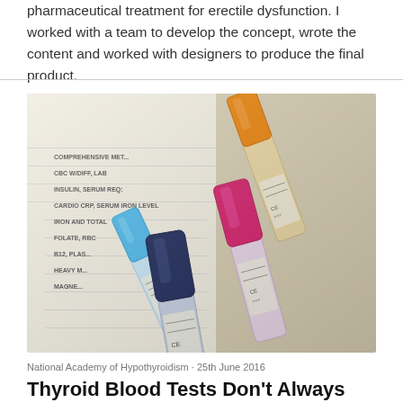pharmaceutical treatment for erectile dysfunction. I worked with a team to develop the concept, wrote the content and worked with designers to produce the final product.
[Figure (photo): Photo of multiple blood collection tubes (orange, blue, magenta/pink, navy blue caps) lying on a printed lab test requisition form listing tests such as Comprehensive Metabolic Panel, CBC with differential, Insulin, Serum Iron, Cardio CRP, Iron and TIBC, Folate, B12 Plasma, Heavy Metals, Magnesium, etc.]
National Academy of Hypothyroidism · 25th June 2016
Thyroid Blood Tests Don't Always Tell